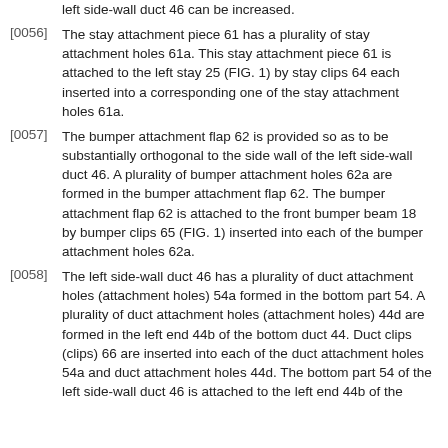left side-wall duct 46 can be increased.
[0056] The stay attachment piece 61 has a plurality of stay attachment holes 61a. This stay attachment piece 61 is attached to the left stay 25 (FIG. 1) by stay clips 64 each inserted into a corresponding one of the stay attachment holes 61a.
[0057] The bumper attachment flap 62 is provided so as to be substantially orthogonal to the side wall of the left side-wall duct 46. A plurality of bumper attachment holes 62a are formed in the bumper attachment flap 62. The bumper attachment flap 62 is attached to the front bumper beam 18 by bumper clips 65 (FIG. 1) inserted into each of the bumper attachment holes 62a.
[0058] The left side-wall duct 46 has a plurality of duct attachment holes (attachment holes) 54a formed in the bottom part 54. A plurality of duct attachment holes (attachment holes) 44d are formed in the left end 44b of the bottom duct 44. Duct clips (clips) 66 are inserted into each of the duct attachment holes 54a and duct attachment holes 44d. The bottom part 54 of the left side-wall duct 46 is attached to the left end 44b of the